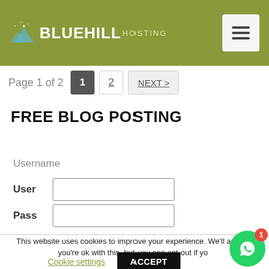BLUEHILL HOSTING
Page 1 of 2  1  2  NEXT >
FREE BLOG POSTING
Username
User [input field]
Pass [input field]
This website uses cookies to improve your experience. We'll assume you're ok with this, but you can opt-out if you
Cookie settings
ACCEPT